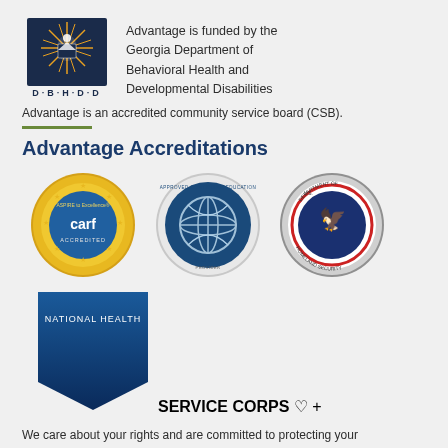[Figure (logo): DBHDD logo with star/sunburst icon and text D·B·H·D·D]
Advantage is funded by the Georgia Department of Behavioral Health and Developmental Disabilities
Advantage is an accredited community service board (CSB).
Advantage Accreditations
[Figure (logo): CARF Accredited - Aspire to Excellence gold seal badge]
[Figure (logo): NBCC Approved Continuing Education Provider badge]
[Figure (logo): U.S. Department of Homeland Security seal]
[Figure (logo): National Health Service Corps badge with blue banner design]
We care about your rights and are committed to protecting your